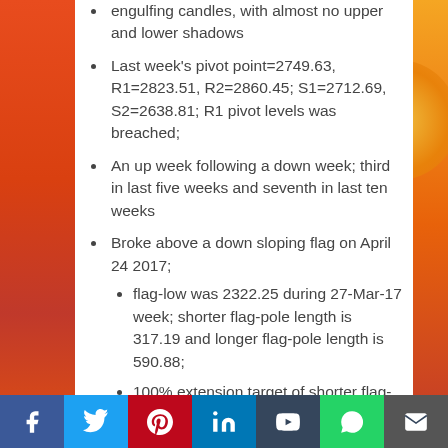engulfing candles, with almost no upper and lower shadows
Last week's pivot point=2749.63, R1=2823.51, R2=2860.45; S1=2712.69, S2=2638.81; R1 pivot levels was breached;
An up week following a down week; third in last five weeks and seventh in last ten weeks
Broke above a down sloping flag on April 24 2017;
flag-low was 2322.25 during 27-Mar-17 week; shorter flag-pole length is 317.19 and longer flag-pole length is 590.88;
100% extension target of shorter flag-pole near